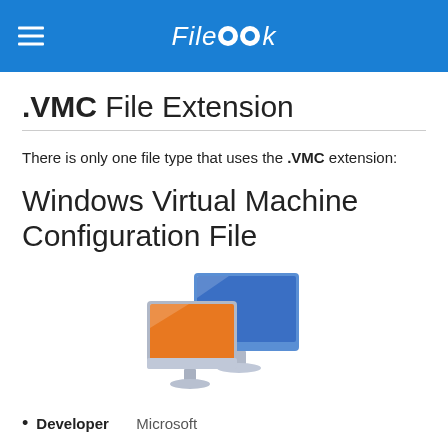FileLook
.VMC File Extension
There is only one file type that uses the .VMC extension:
Windows Virtual Machine Configuration File
[Figure (illustration): Icon showing two computer monitors: a smaller orange/yellow monitor in front and a larger blue monitor behind, both on silver stands — representing Windows Virtual Machine.]
Developer   Microsoft